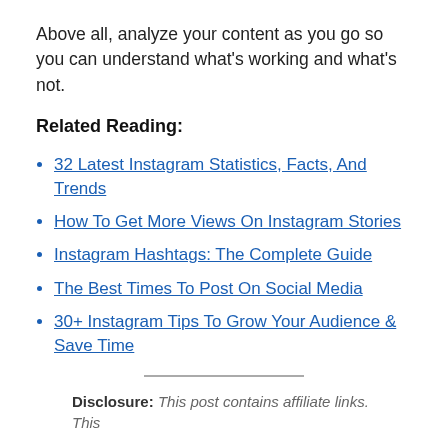Above all, analyze your content as you go so you can understand what's working and what's not.
Related Reading:
32 Latest Instagram Statistics, Facts, And Trends
How To Get More Views On Instagram Stories
Instagram Hashtags: The Complete Guide
The Best Times To Post On Social Media
30+ Instagram Tips To Grow Your Audience & Save Time
Disclosure: This post contains affiliate links. This